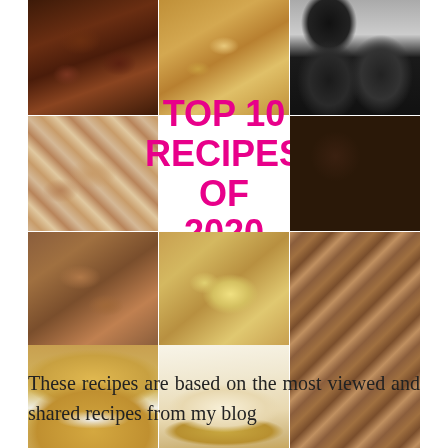[Figure (photo): Collage of 10 baked goods/dessert recipe photos arranged in a 3x3-ish grid with a white center panel overlay. Top row: chocolate brownies, blondies/pumpkin bars, black cupcakes. Middle row: marble/cheesecake bars, center white panel with title text, chocolate truffles. Third row: toffee bars, banana muffins. Bottom row: Victoria sponge cake, cheesecake slice, Nutella bars.]
TOP 10 RECIPES OF 2020
These recipes are based on the most viewed and shared recipes from my blog